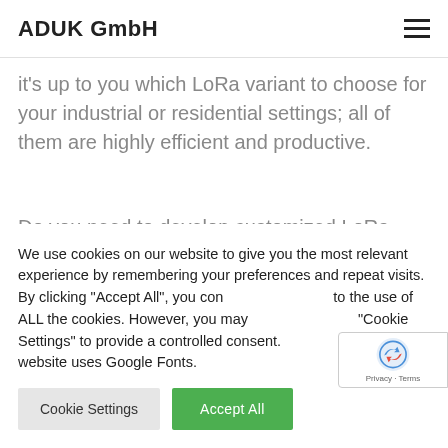ADUK GmbH
it’s up to you which LoRa variant to choose for your industrial or residential settings; all of them are highly efficient and productive.
Do you need to develop customized LoRa Mesh networking systems for your business needs? ADUK is an expert in LoRa devices and can help you with
We use cookies on our website to give you the most relevant experience by remembering your preferences and repeat visits. By clicking “Accept All”, you consent to the use of ALL the cookies. However, you may visit “Cookie Settings” to provide a controlled consent. This website uses Google Fonts.
[Figure (other): Google reCAPTCHA badge with logo and Privacy - Terms links]
Cookie Settings
Accept All